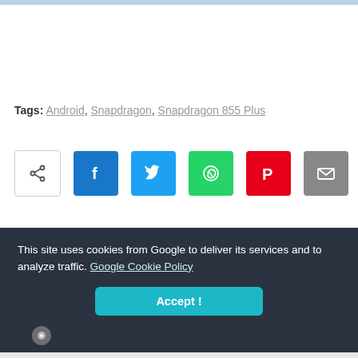Tags: Android, Snapdragon, Snapdragon 855 Plus
[Figure (other): Social share buttons row: share/native, Facebook, Twitter, WhatsApp, Pinterest, Email, More (+)]
This site uses cookies from Google to deliver its services and to analyze traffic. Google Cookie Policy
Accept !